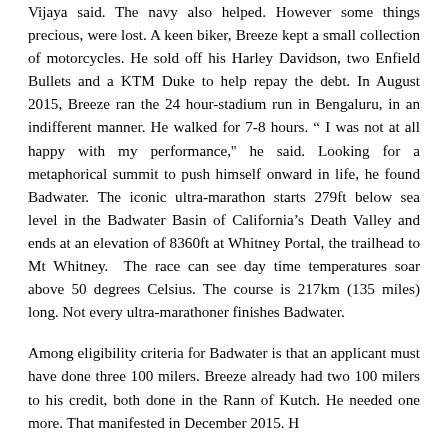Vijaya said. The navy also helped. However some things precious, were lost. A keen biker, Breeze kept a small collection of motorcycles. He sold off his Harley Davidson, two Enfield Bullets and a KTM Duke to help repay the debt. In August 2015, Breeze ran the 24 hour-stadium run in Bengaluru, in an indifferent manner. He walked for 7-8 hours. " I was not at all happy with my performance,'' he said. Looking for a metaphorical summit to push himself onward in life, he found Badwater. The iconic ultra-marathon starts 279ft below sea level in the Badwater Basin of California's Death Valley and ends at an elevation of 8360ft at Whitney Portal, the trailhead to Mt Whitney.  The race can see day time temperatures soar above 50 degrees Celsius. The course is 217km (135 miles) long. Not every ultra-marathoner finishes Badwater.
Among eligibility criteria for Badwater is that an applicant must have done three 100 milers. Breeze already had two 100 milers to his credit, both done in the Rann of Kutch. He needed one more. That manifested in December 2015. H...